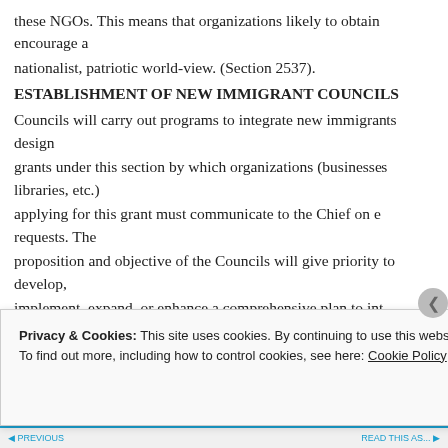these NGOs. This means that organizations likely to obtain encourage a
nationalist, patriotic world-view. (Section 2537).
ESTABLISHMENT OF NEW IMMIGRANT COUNCILS
Councils will carry out programs to integrate new immigrants design
grants under this section by which organizations (businesses, libraries, etc.)
applying for this grant must communicate to the Chief on e requests. The
proposition and objective of the Councils will give priority to develop,
implement, expand, or enhance a comprehensive plan to int
Privacy & Cookies: This site uses cookies. By continuing to use this website, you agree to their use. To find out more, including how to control cookies, see here: Cookie Policy